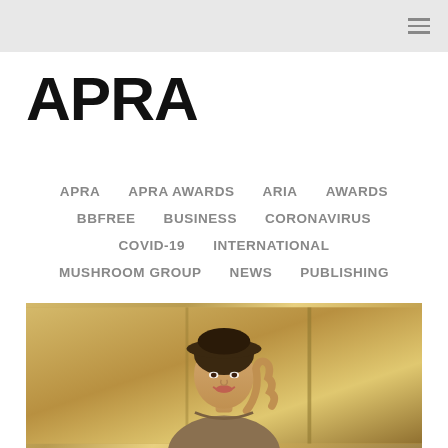APRA
APRA
APRA AWARDS
ARIA
AWARDS
BBFREE
BUSINESS
CORONAVIRUS
COVID-19
INTERNATIONAL
MUSHROOM GROUP
NEWS
PUBLISHING
[Figure (photo): Sepia-toned vintage photograph of a woman wearing a hat, smiling, from the mid-20th century era]